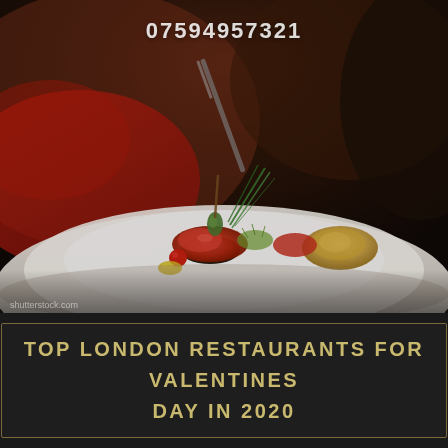07594957321
[Figure (photo): Close-up of an elegantly plated gourmet dish on a white plate, with red tomato sauce, cherry tomato, microgreens, capers, chives, and a golden seared scallop. A person in red clothing holds a fork in the background.]
shutterstock.com
TOP LONDON RESTAURANTS FOR VALENTINES DAY IN 2020